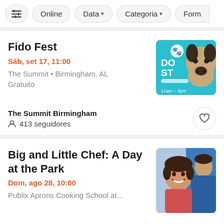Filter bar: [icon] Online  Data ▾  Categoria ▾  Form...
Fido Fest
Sáb, set 17, 11:00
The Summit • Birmingham, AL
Gratuito
[Figure (photo): Fido Fest event poster with a dog on a teal background, text: 11am–3pm]
The Summit Birmingham
413 seguidores
Big and Little Chef: A Day at the Park
Dom, ago 28, 10:00
Publix Aprons Cooking School at...
[Figure (photo): Smiling young girl with an adult in blue, event photo for Big and Little Chef]